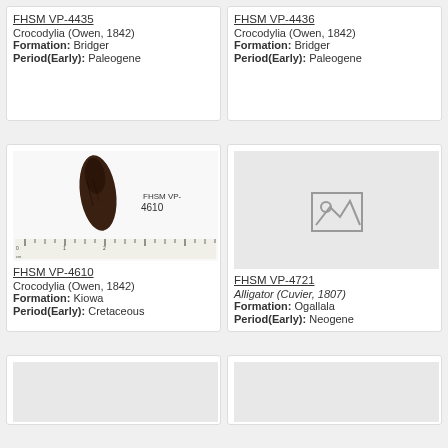FHSM VP-4435
Crocodylia (Owen, 1842)
Formation: Bridger
Period(Early): Paleogene
FHSM VP-4436
Crocodylia (Owen, 1842)
Formation: Bridger
Period(Early): Paleogene
[Figure (photo): Photograph of a dark brown fossil tooth specimen labeled FHSM VP-4610, shown next to a centimeter ruler scale bar]
FHSM VP-4610
Crocodylia (Owen, 1842)
Formation: Kiowa
Period(Early): Cretaceous
[Figure (photo): Placeholder image icon indicating no photo available for FHSM VP-4721]
FHSM VP-4721
Alligator (Cuvier, 1807)
Formation: Ogallala
Period(Early): Neogene
[Figure (photo): Placeholder image for bottom-left card, partially visible]
[Figure (photo): Placeholder image for bottom-right card, partially visible]